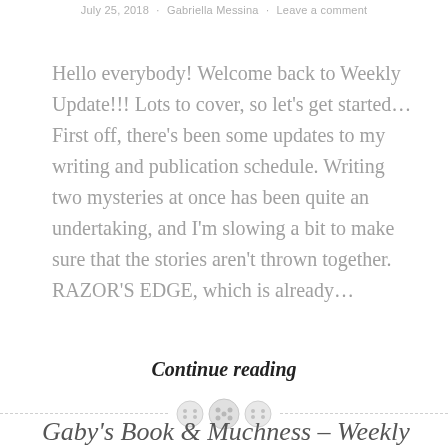July 25, 2018 · Gabriella Messina · Leave a comment
Hello everybody! Welcome back to Weekly Update!!! Lots to cover, so let's get started… First off, there's been some updates to my writing and publication schedule. Writing two mysteries at once has been quite an undertaking, and I'm slowing a bit to make sure that the stories aren't thrown together. RAZOR'S EDGE, which is already…
Continue reading
Gaby's Book & Muchness – Weekly